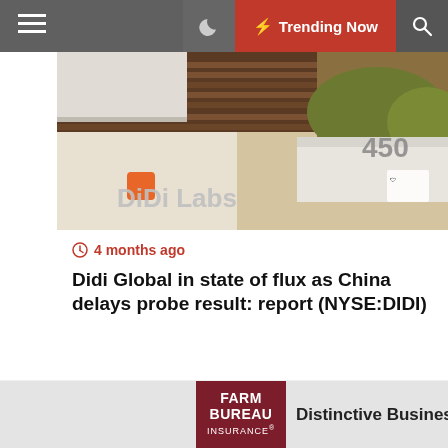≡  🌙  ⚡ Trending Now  🔍
[Figure (photo): Exterior photo of DiDi Labs building at 450, showing wooden slat fence and modern architecture]
⊙ 4 months ago
Didi Global in state of flux as China delays probe result: report (NYSE:DIDI)
[Figure (photo): Photo of three high-voltage electricity transmission towers/pylons against an orange/golden sky]
[Figure (logo): Farm Bureau Insurance logo — dark red badge with FARM BUREAU INSURANCE text]
Distinctive Business Concep